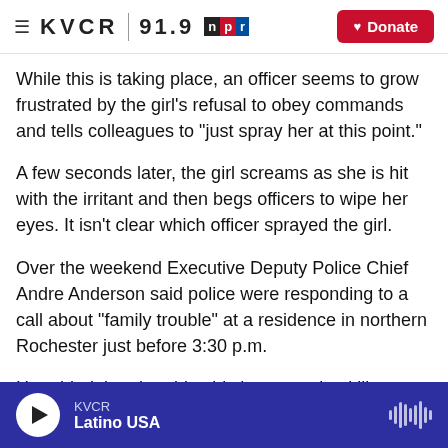KVCR 91.9 npr | Donate
While this is taking place, an officer seems to grow frustrated by the girl's refusal to obey commands and tells colleagues to "just spray her at this point."
A few seconds later, the girl screams as she is hit with the irritant and then begs officers to wipe her eyes. It isn't clear which officer sprayed the girl.
Over the weekend Executive Deputy Police Chief Andre Anderson said police were responding to a call about "family trouble" at a residence in northern Rochester just before 3:30 p.m.
He added that the girl said she wanted to kill
KVCR | Latino USA